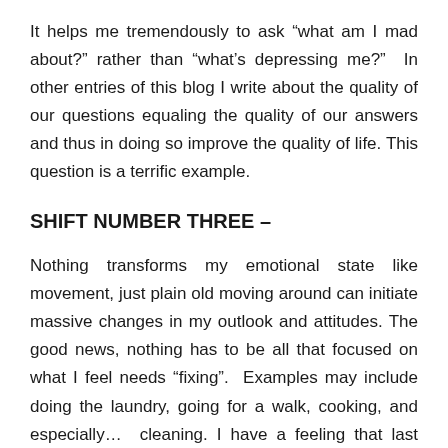It helps me tremendously to ask “what am I mad about?” rather than “what’s depressing me?”  In other entries of this blog I write about the quality of our questions equaling the quality of our answers and thus in doing so improve the quality of life. This question is a terrific example.
SHIFT NUMBER THREE –
Nothing transforms my emotional state like movement, just plain old moving around can initiate massive changes in my outlook and attitudes. The good news, nothing has to be all that focused on what I feel needs “fixing”.  Examples may include doing the laundry, going for a walk, cooking, and especially…  cleaning. I have a feeling that last one, cleaning, has psychological benefits that can have other, subconscious healing effects. It should be clarified I’m not